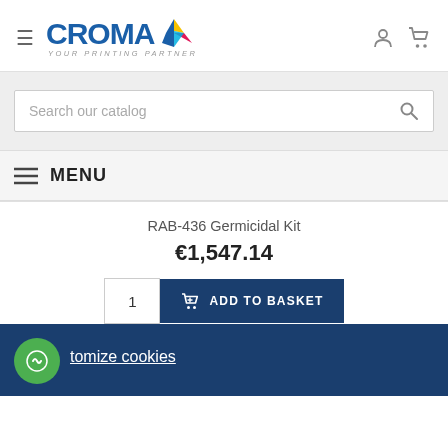[Figure (logo): CROMA - Your Printing Partner logo with colorful star/arrow icon]
Search our catalog
MENU
RAB-436 Germicidal Kit
€1,547.14
ADD TO BASKET
tomize cookies